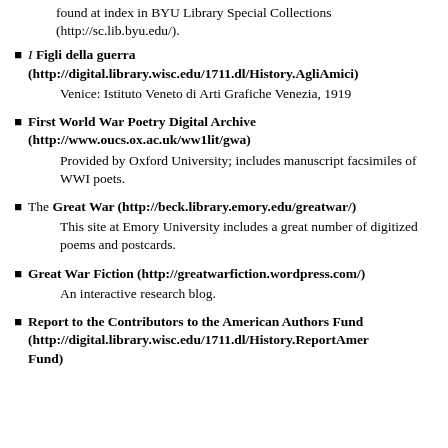found at index in BYU Library Special Collections (http://sc.lib.byu.edu/).
I Figli della guerra (http://digital.library.wisc.edu/1711.dl/History.AgliAmici)

Venice: Istituto Veneto di Arti Grafiche Venezia, 1919
First World War Poetry Digital Archive (http://www.oucs.ox.ac.uk/ww1lit/gwa)

Provided by Oxford University; includes manuscript facsimiles of WWI poets.
The Great War (http://beck.library.emory.edu/greatwar/)

This site at Emory University includes a great number of digitized poems and postcards.
Great War Fiction (http://greatwarfiction.wordpress.com/)

An interactive research blog.
Report to the Contributors to the American Authors Fund (http://digital.library.wisc.edu/1711.dl/History.ReportAmerFund)